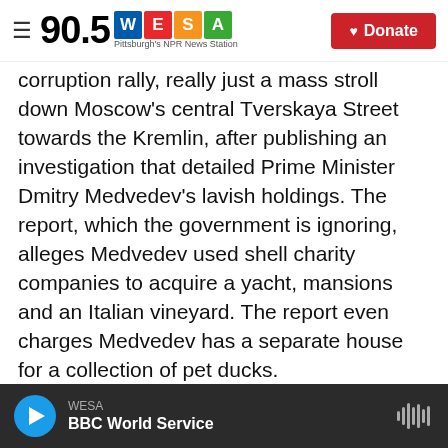90.5 WESA Pittsburgh's NPR News Station | Donate
corruption rally, really just a mass stroll down Moscow's central Tverskaya Street towards the Kremlin, after publishing an investigation that detailed Prime Minister Dmitry Medvedev's lavish holdings. The report, which the government is ignoring, alleges Medvedev used shell charity companies to acquire a yacht, mansions and an Italian vineyard. The report even charges Medvedev has a separate house for a collection of pet ducks.
IKAAS YURMAN: (Speaking Russian).
MAYNES: "We just want an investigation," says
WESA | BBC World Service